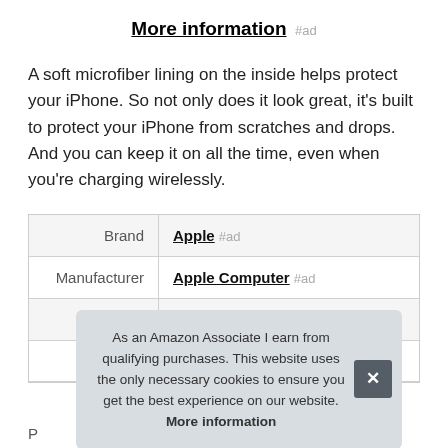More information #ad
A soft microfiber lining on the inside helps protect your iPhone. So not only does it look great, it's built to protect your iPhone from scratches and drops. And you can keep it on all the time, even when you're charging wirelessly.
|  |  |
| --- | --- |
| Brand | Apple #ad |
| Manufacturer | Apple Computer #ad |
| Height | 3.19 Inches |
|  |  |
As an Amazon Associate I earn from qualifying purchases. This website uses the only necessary cookies to ensure you get the best experience on our website. More information
P